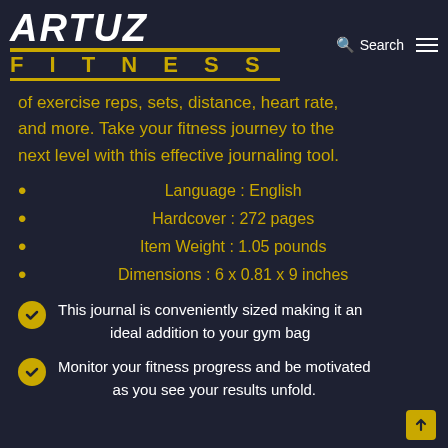[Figure (logo): Artuz Fitness logo with bold italic ARTUZ text in white above gold FITNESS lettering, with gold underlines]
of exercise reps, sets, distance, heart rate, and more. Take your fitness journey to the next level with this effective journaling tool.
Language :  English
Hardcover :  272 pages
Item Weight  :  1.05 pounds
Dimensions  :  6 x 0.81 x 9 inches
This journal is conveniently sized making it an ideal addition to your gym bag
Monitor your fitness progress and be motivated as you see your results unfold.